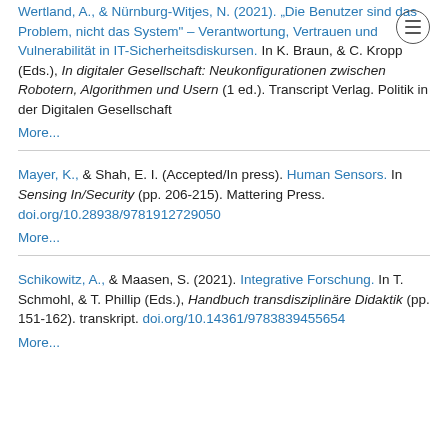Wertland, A., & Nürnburg-Witjes, N. (2021). "Die Benutzer sind das Problem, nicht das System" – Verantwortung, Vertrauen und Vulnerabilität in IT-Sicherheitsdiskursen. In K. Braun, & C. Kropp (Eds.), In digitaler Gesellschaft: Neukonfigurationen zwischen Robotern, Algorithmen und Usern (1 ed.). Transcript Verlag. Politik in der Digitalen Gesellschaft
More...
Mayer, K., & Shah, E. I. (Accepted/In press). Human Sensors. In Sensing In/Security (pp. 206-215). Mattering Press. doi.org/10.28938/9781912729050
More...
Schikowitz, A., & Maasen, S. (2021). Integrative Forschung. In T. Schmohl, & T. Phillip (Eds.), Handbuch transdisziplinäre Didaktik (pp. 151-162). transkript. doi.org/10.14361/9783839455654
More...